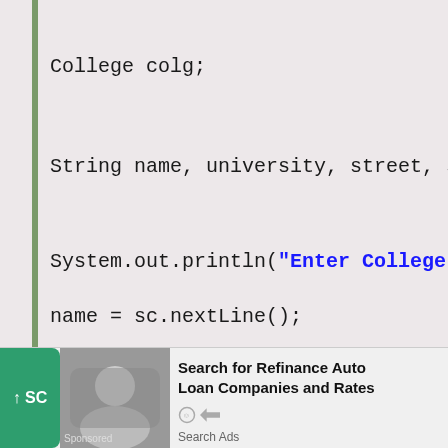College colg;
String name, university, street, state, city, n
System.out.println("Enter College Name:");
name = sc.nextLine();
System.out.println("Enter University Name:
university = sc.nextLine();
System.out.println("Enter Street:");
street = sc.nextLine();